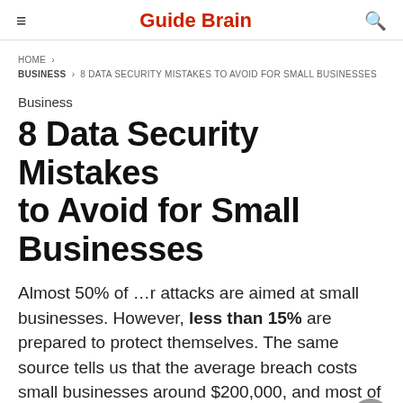Guide Brain
HOME › BUSINESS › 8 DATA SECURITY MISTAKES TO AVOID FOR SMALL BUSINESSES
Business
8 Data Security Mistakes to Avoid for Small Businesses
Almost 50% of …r attacks are aimed at small businesses. However, less than 15% are prepared to protect themselves. The same source tells us that the average breach costs small businesses around $200,000, and most of them can't come